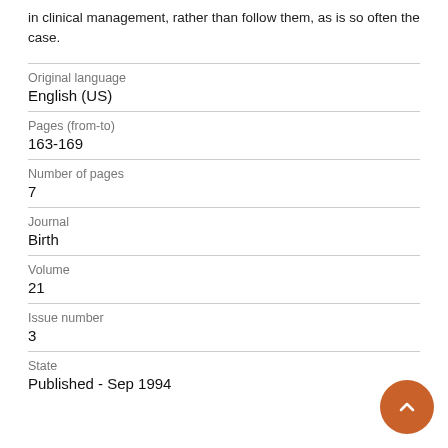in clinical management, rather than follow them, as is so often the case.
| Field | Value |
| --- | --- |
| Original language | English (US) |
| Pages (from-to) | 163-169 |
| Number of pages | 7 |
| Journal | Birth |
| Volume | 21 |
| Issue number | 3 |
| State | Published - Sep 1994 |